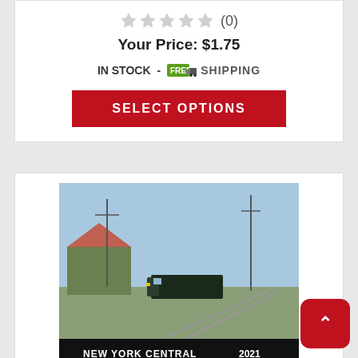[Figure (other): Star rating display showing 5 empty/grey stars with (0) reviews count]
Your Price: $1.75
IN STOCK - FREE SHIPPING
SELECT OPTIONS
[Figure (photo): Photo of New York Central 2021 calendar cover showing a train on tracks with a station building, utility poles, and text 'NEW YORK CENTRAL 2021' at the bottom]
NYCSHS 2021 Calendar (Free Shipping on US orders